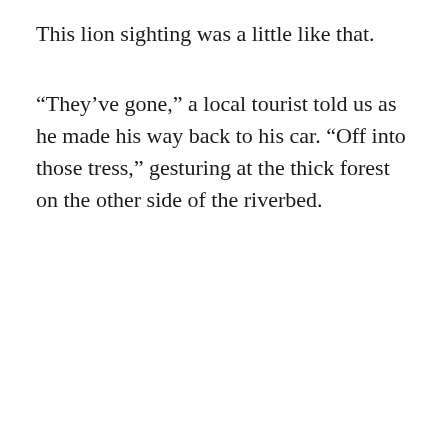This lion sighting was a little like that.
“They’ve gone,” a local tourist told us as he made his way back to his car. “Off into those tress,” gesturing at the thick forest on the other side of the riverbed.